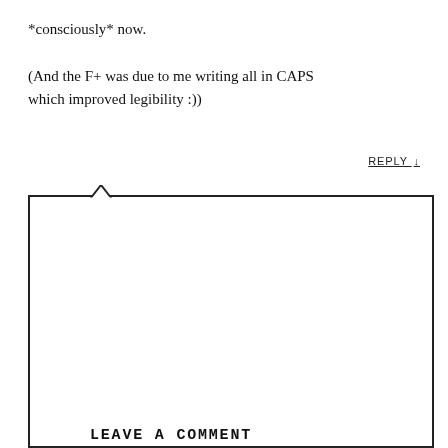*consciously* now.

(And the F+ was due to me writing all in CAPS which improved legibility :))
REPLY ↓
LEAVE A COMMENT
COMMENT *